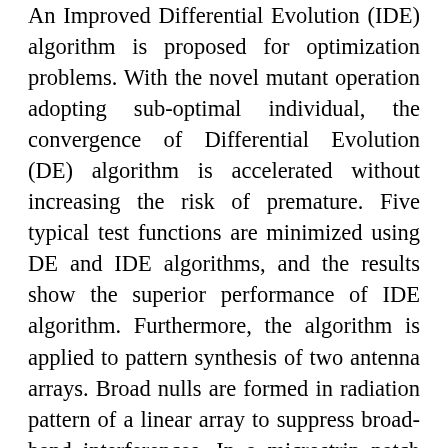An Improved Differential Evolution (IDE) algorithm is proposed for optimization problems. With the novel mutant operation adopting sub-optimal individual, the convergence of Differential Evolution (DE) algorithm is accelerated without increasing the risk of premature. Five typical test functions are minimized using DE and IDE algorithms, and the results show the superior performance of IDE algorithm. Furthermore, the algorithm is applied to pattern synthesis of two antenna arrays. Broad nulls are formed in radiation pattern of a linear array to suppress broad-band interferences. In a microstrip patch array, the sidelobe level of array is decreased about 12.9 dB and the mainlobe can scan to the desired angle.